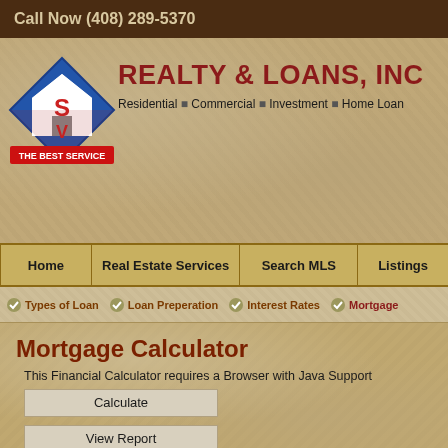Call Now (408) 289-5370
[Figure (logo): SV Realty diamond-shaped logo with house icon and 'THE BEST SERVICE' text]
REALTY & LOANS, INC
Residential . Commercial . Investment . Home Loan
Home | Real Estate Services | Search MLS | Listings
Types of Loan
Loan Preperation
Interest Rates
Mortgage
Mortgage Calculator
This Financial Calculator requires a Browser with Java Support
Calculate
View Report